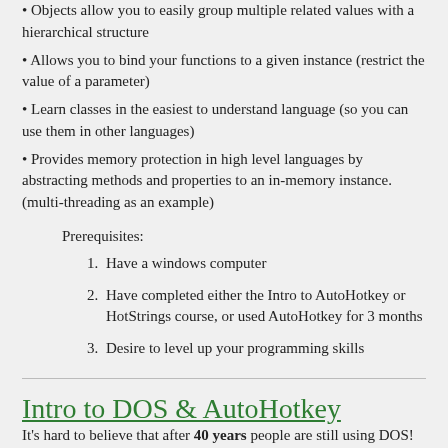Objects allow you to easily group multiple related values with a hierarchical structure
Allows you to bind your functions to a given instance (restrict the value of a parameter)
Learn classes in the easiest to understand language (so you can use them in other languages)
Provides memory protection in high level languages by abstracting methods and properties to an in-memory instance. (multi-threading as an example)
Prerequisites:
Have a windows computer
Have completed either the Intro to AutoHotkey or HotStrings course, or used AutoHotkey for 3 months
Desire to level up your programming skills
Intro to DOS & AutoHotkey
It's hard to believe that after 40 years people are still using DOS!  If you're running a Windows computer, knowing how to get around DOS can be a huge blessing!  I'd